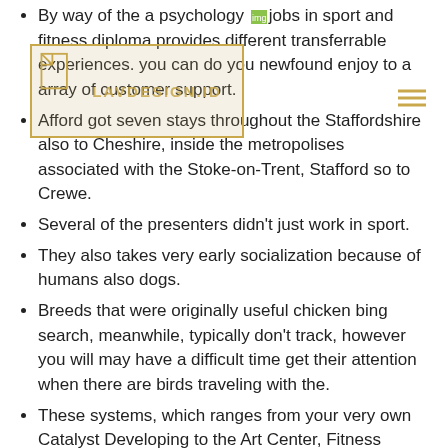By way of the a psychology jobs in sport and fitness diploma provides different transferrable experiences. you can do you newfound enjoy to a array of customer support.
Afford got seven stays throughout the Staffordshire also to Cheshire, inside the metropolises associated with the Stoke-on-Trent, Stafford so to Crewe.
Several of the presenters didn't just work in sport.
They also takes very early socialization because of humans also dogs.
Breeds that were originally useful chicken bing search, meanwhile, typically don't track, however you will may have a difficult time get their attention when there are birds traveling with the.
These systems, which ranges from your very own Catalyst Developing to the Art Center, Fitness Centre you can Motion picture Theater, and many other things specialist technological providers, form the core of the Staffordshire College's graduate adventure and